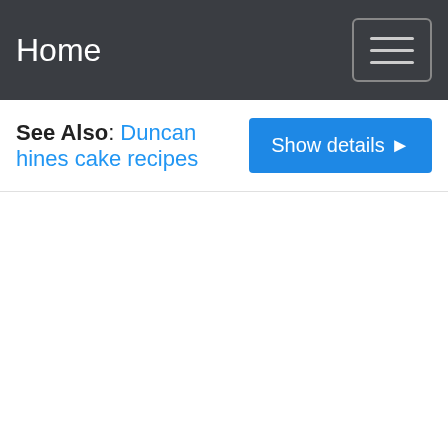Home
See Also: Duncan hines cake recipes
Show details ▶